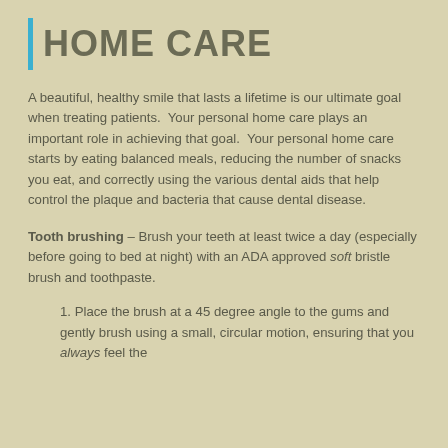HOME CARE
A beautiful, healthy smile that lasts a lifetime is our ultimate goal when treating patients.  Your personal home care plays an important role in achieving that goal.  Your personal home care starts by eating balanced meals, reducing the number of snacks you eat, and correctly using the various dental aids that help control the plaque and bacteria that cause dental disease.
Tooth brushing – Brush your teeth at least twice a day (especially before going to bed at night) with an ADA approved soft bristle brush and toothpaste.
1. Place the brush at a 45 degree angle to the gums and gently brush using a small, circular motion, ensuring that you always feel the